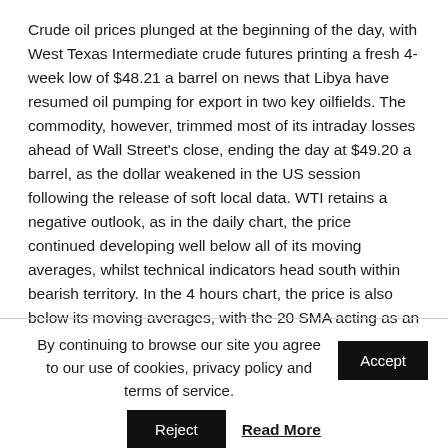Crude oil prices plunged at the beginning of the day, with West Texas Intermediate crude futures printing a fresh 4-week low of $48.21 a barrel on news that Libya have resumed oil pumping for export in two key oilfields. The commodity, however, trimmed most of its intraday losses ahead of Wall Street's close, ending the day at $49.20 a barrel, as the dollar weakened in the US session following the release of soft local data. WTI retains a negative outlook, as in the daily chart, the price continued developing well below all of its moving averages, whilst technical indicators head south within bearish territory. In the 4 hours chart, the price is also below its moving averages, with the 20 SMA acting as an immediate resistance at 49.30, while technical indicators recovered within negative territory, but pared gains and turned flat around their mid-lines.
By continuing to browse our site you agree to our use of cookies, privacy policy and terms of service.
Accept
Reject
Read More